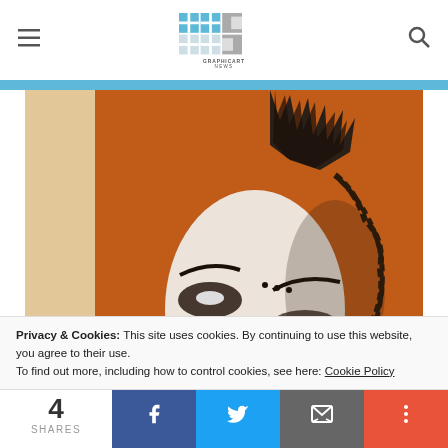GRAPHICART NEWS
[Figure (photo): Close-up painting of a stylized face with heavy dark eye makeup, a mohawk hairstyle, and an orange/brown background. The figure appears to be a gothic or punk-style portrait artwork.]
Privacy & Cookies: This site uses cookies. By continuing to use this website, you agree to their use.
To find out more, including how to control cookies, see here: Cookie Policy
4
SHARES